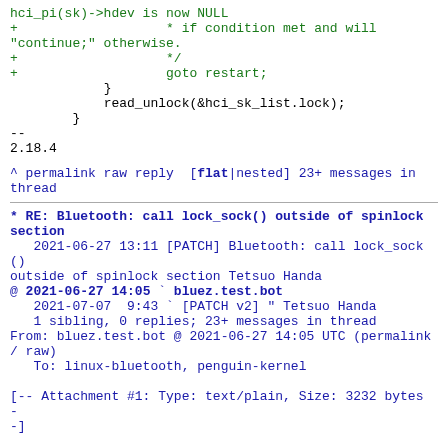hci_pi(sk)->hdev is now NULL
+                   * if condition met and will "continue;" otherwise.
+                   */
+                   goto restart;
            }
            read_unlock(&hci_sk_list.lock);
        }
--
2.18.4
^ permalink raw reply  [flat|nested] 23+ messages in thread
* RE: Bluetooth: call lock_sock() outside of spinlock section
   2021-06-27 13:11 [PATCH] Bluetooth: call lock_sock() outside of spinlock section Tetsuo Handa
@ 2021-06-27 14:05 ` bluez.test.bot
   2021-07-07  9:43 ` [PATCH v2] " Tetsuo Handa
   1 sibling, 0 replies; 23+ messages in thread
From: bluez.test.bot @ 2021-06-27 14:05 UTC (permalink / raw)
   To: linux-bluetooth, penguin-kernel

[-- Attachment #1: Type: text/plain, Size: 3232 bytes --]